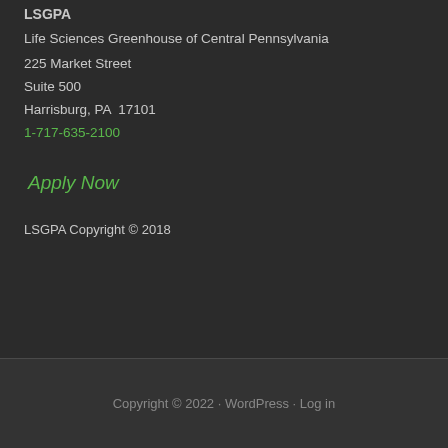LSGPA
Life Sciences Greenhouse of Central Pennsylvania
225 Market Street
Suite 500
Harrisburg, PA  17101
1-717-635-2100
Apply Now
LSGPA Copyright © 2018
Copyright © 2022 · WordPress · Log in